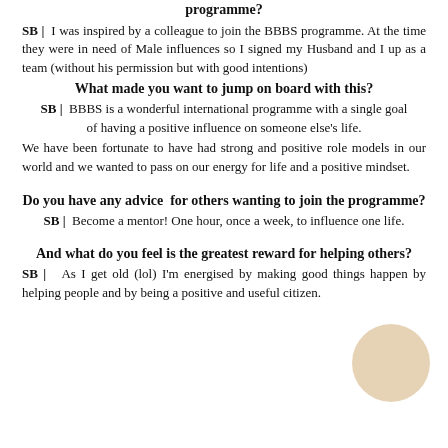programme?
SB | I was inspired by a colleague to join the BBBS programme. At the time they were in need of Male influences so I signed my Husband and I up as a team (without his permission but with good intentions)
What made you want to jump on board with this?
SB | BBBS is a wonderful international programme with a single goal of having a positive influence on someone else's life.
We have been fortunate to have had strong and positive role models in our world and we wanted to pass on our energy for life and a positive mindset.
Do you have any advice  for others wanting to join the programme?
SB | Become a mentor! One hour, once a week, to influence one life.
And what do you feel is the greatest reward for helping others?
SB | As I get old (lol) I'm energised by making good things happen by helping people and by being a positive and useful citizen.